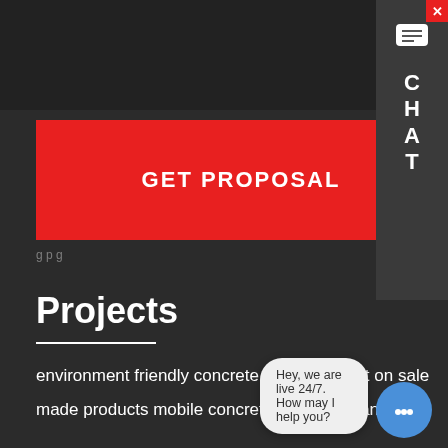[Figure (screenshot): Top dark navigation bar of a website]
GET PROPOSAL
[Figure (screenshot): Chat sidebar widget with close button (X), chat icon, and letters C H A T stacked vertically]
Projects
environment friendly concrete batching plant on sale
made products mobile concrete batching plant mc
The Concrete Jungle NYMag
mixing plant facto
[Figure (screenshot): Live chat bubble saying 'Hey, we are live 24/7. How may I help you?' with blue avatar chat button]
HZS Series Skip Hoist Type Cement Plant For Construction...